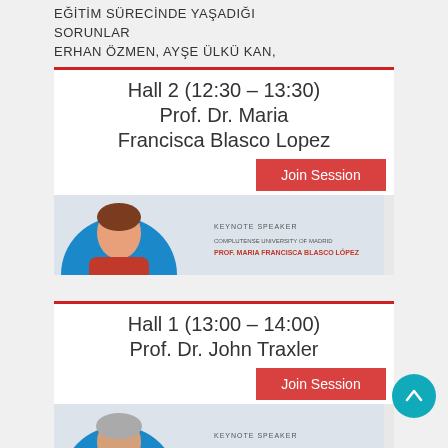EĞİTİM SÜRECİNDE YAŞADIĞI SORUNLAR
ERHAN ÖZMEN, AYŞE ÜLKÜ KAN,
Hall 2 (12:30 – 13:30)
Prof. Dr. Maria Francisca Blasco Lopez
Join Session
[Figure (photo): Keynote speaker photo and banner: COMPLUTENSE UNIVERSITY OF MADRID, PROF. MARIA FRANCISCA BLASCO LÓPEZ]
Hall 1 (13:00 – 14:00)
Prof. Dr. John Traxler
Join Session
[Figure (photo): Keynote speaker photo and banner: UNIVERSITY OF WOLVERHAMPTON, PROF. DR. JOHN TRAXLER]